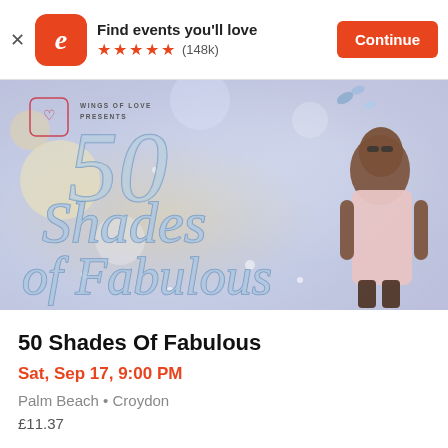[Figure (screenshot): Eventbrite app banner: orange rounded square icon with white italic 'e', text 'Find events you'll love', five orange stars rating, (148k) reviews, orange Continue button]
[Figure (photo): Event promotional image for '50 Shades of Fabulous' by Wings of Love Presents. Decorative script text '50 Shades of Fabulous' on a soft blue/purple bokeh background with a woman in a pink blazer posing on the right side.]
50 Shades Of Fabulous
Sat, Sep 17, 9:00 PM
Palm Beach • Croydon
£11.37